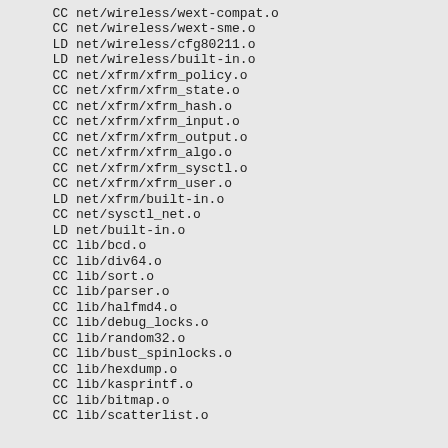CC    net/wireless/wext-compat.o
CC    net/wireless/wext-sme.o
LD    net/wireless/cfg80211.o
LD    net/wireless/built-in.o
CC    net/xfrm/xfrm_policy.o
CC    net/xfrm/xfrm_state.o
CC    net/xfrm/xfrm_hash.o
CC    net/xfrm/xfrm_input.o
CC    net/xfrm/xfrm_output.o
CC    net/xfrm/xfrm_algo.o
CC    net/xfrm/xfrm_sysctl.o
CC    net/xfrm/xfrm_user.o
LD    net/xfrm/built-in.o
CC    net/sysctl_net.o
LD    net/built-in.o
CC    lib/bcd.o
CC    lib/div64.o
CC    lib/sort.o
CC    lib/parser.o
CC    lib/halfmd4.o
CC    lib/debug_locks.o
CC    lib/random32.o
CC    lib/bust_spinlocks.o
CC    lib/hexdump.o
CC    lib/kasprintf.o
CC    lib/bitmap.o
CC    lib/scatterlist.o